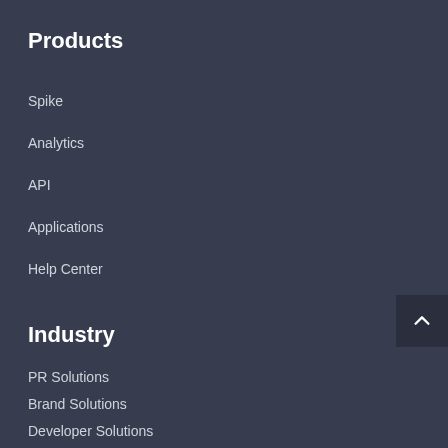Products
Spike
Analytics
API
Applications
Help Center
Industry
PR Solutions
Brand Solutions
Developer Solutions
Media Solutions